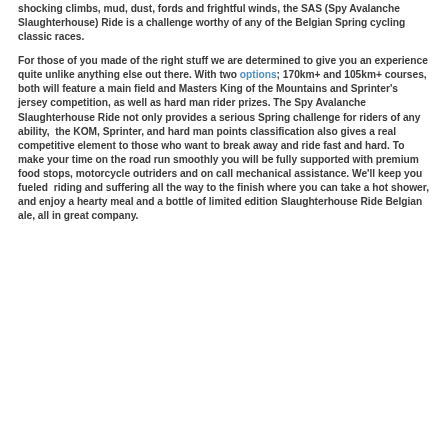shocking climbs, mud, dust, fords and frightful winds, the SAS (Spy Avalanche Slaughterhouse) Ride is a challenge worthy of any of the Belgian Spring cycling classic races.
For those of you made of the right stuff we are determined to give you an experience quite unlike anything else out there. With two options; 170km+ and 105km+ courses, both will feature a main field and Masters King of the Mountains and Sprinter's jersey competition, as well as hard man rider prizes. The Spy Avalanche Slaughterhouse Ride not only provides a serious Spring challenge for riders of any ability, the KOM, Sprinter, and hard man points classification also gives a real competitive element to those who want to break away and ride fast and hard. To make your time on the road run smoothly you will be fully supported with premium food stops, motorcycle outriders and on call mechanical assistance. We'll keep you fueled riding and suffering all the way to the finish where you can take a hot shower, and enjoy a hearty meal and a bottle of limited edition Slaughterhouse Ride Belgian ale, all in great company.